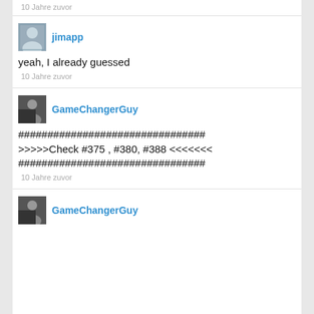10 Jahre zuvor
jimapp
yeah, I already guessed
10 Jahre zuvor
GameChangerGuy
################################
>>>>>Check #375 , #380, #388 <<<<<<< 
################################
10 Jahre zuvor
GameChangerGuy